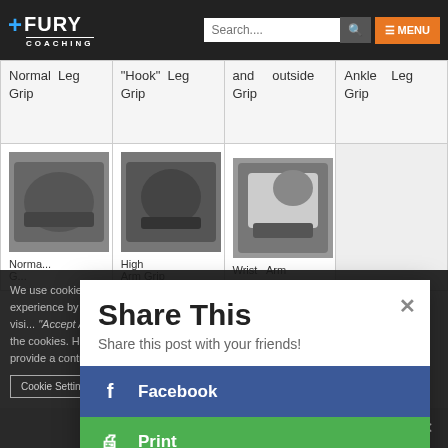+FURY COACHING — website navigation with search and menu
| Normal Leg Grip | "Hook" Leg Grip | [and outside] Grip | Ankle Leg Grip |
| --- | --- | --- | --- |
| [photo] | [photo High Arm Grip] | Wrist Arm [photo] | [empty] |
We use cookies on our website to give you the most relevant experience by remembering your preferences and repeat visits. By clicking "Accept All", you consent to the use of ALL the cookies. However, you may visit "Cookie Settings" to provide a controlled consent.
Share This
Share this post with your friends!
Facebook
Print
Gmail
Share This ∨